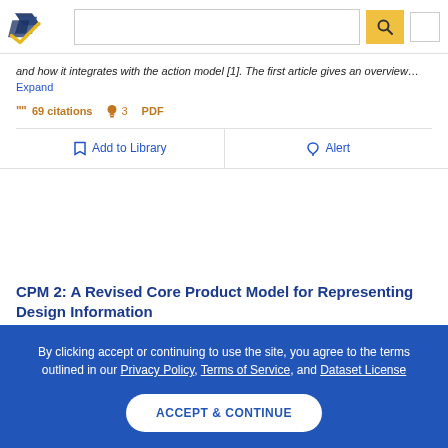Semantic Scholar header with logo, search bar, and search button
and how it integrates with the action model [1]. The first article gives an overview… Expand
69 citations  3  PDF
Add to Library   Alert
CPM 2: A Revised Core Product Model for Representing Design Information
By clicking accept or continuing to use the site, you agree to the terms outlined in our Privacy Policy, Terms of Service, and Dataset License
ACCEPT & CONTINUE